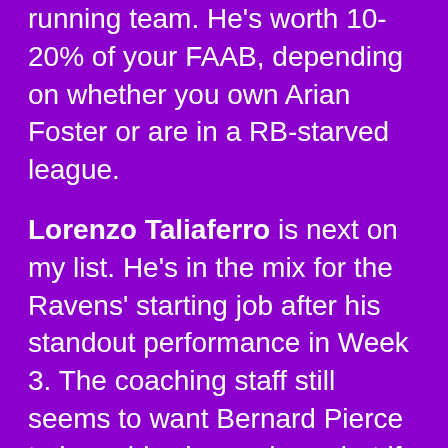running team. He's worth 10-20% of your FAAB, depending on whether you own Arian Foster or are in a RB-starved league.
Lorenzo Taliaferro is next on my list. He's in the mix for the Ravens' starting job after his standout performance in Week 3. The coaching staff still seems to want Bernard Pierce to have his chance here, but if Pierce can't stay healthy or generally proves ineffective once again, Taliaferro is the running back you want to own. He deserves a 10-20% bid in FAAB.
Andrew Hawkins has quietly been the guy in